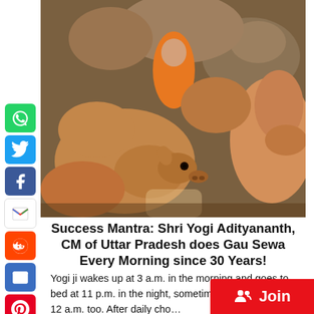[Figure (photo): A person in orange clothing surrounded by many cows/cattle in an enclosure]
Success Mantra: Shri Yogi Adityananth, CM of Uttar Pradesh does Gau Sewa Every Morning since 30 Years!
Yogi ji wakes up at 3 a.m. in the morning and goes to bed at 11 p.m. in the night, sometimes this stretches to 12 a.m. too. After daily cho…